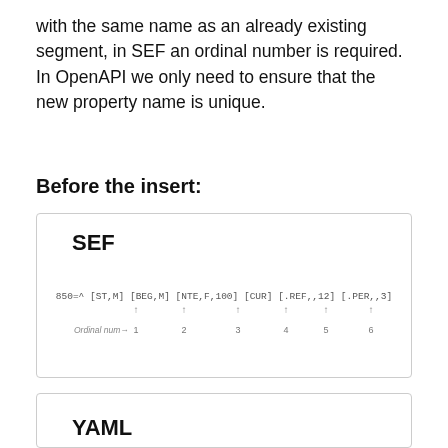with the same name as an already existing segment, in SEF an ordinal number is required. In OpenAPI we only need to ensure that the new property name is unique.
Before the insert:
[Figure (schematic): SEF segment diagram showing ordinal numbers 1 through 6 labeled beneath segment tokens: 850=^ [ST,M] [BEG,M] [NTE,F,100] [CUR] [.REF,,12] [.PER,,3] with arrows pointing up at each segment and 'Ordinal num→' label on the left.]
[Figure (schematic): YAML box (partially visible at bottom)]